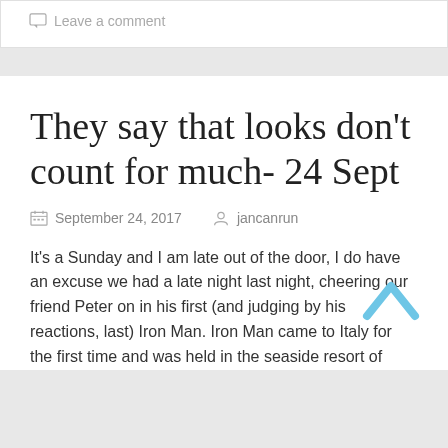Leave a comment
They say that looks don't count for much- 24 Sept
September 24, 2017   jancanrun
It's a Sunday and I am late out of the door, I do have an excuse we had a late night last night, cheering our friend Peter on in his first (and judging by his reactions, last) Iron Man. Iron Man came to Italy for the first time and was held in the seaside resort of Senigallia. This is what Peter looked like after his well